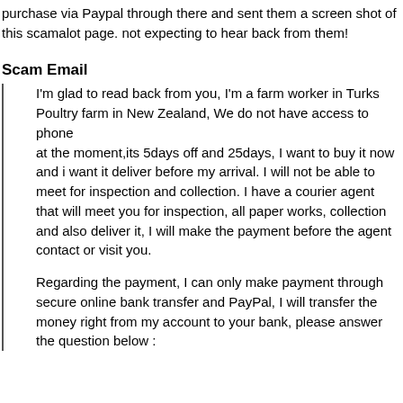purchase via Paypal through there and sent them a screen shot of this scamalot page. not expecting to hear back from them!
Scam Email
I'm glad to read back from you, I'm a farm worker in Turks Poultry farm in New Zealand, We do not have access to phone at the moment,its 5days off and 25days, I want to buy it now and i want it deliver before my arrival. I will not be able to meet for inspection and collection. I have a courier agent that will meet you for inspection, all paper works, collection and also deliver it, I will make the payment before the agent contact or visit you.
Regarding the payment, I can only make payment through secure online bank transfer and PayPal, I will transfer the money right from my account to your bank, please answer the question below :